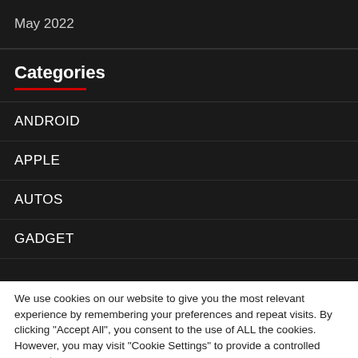May 2022
Categories
ANDROID
APPLE
AUTOS
GADGET
We use cookies on our website to give you the most relevant experience by remembering your preferences and repeat visits. By clicking "Accept All", you consent to the use of ALL the cookies. However, you may visit "Cookie Settings" to provide a controlled consent.
Cookie Settings
Accept All